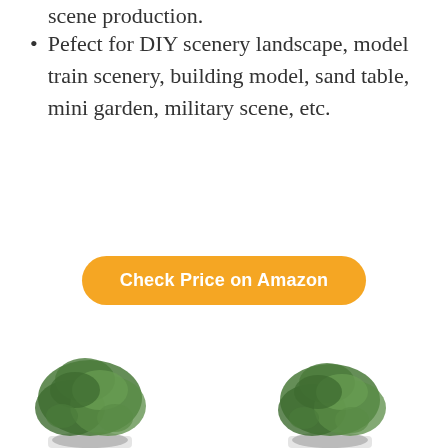Pefect for DIY scenery landscape, model train scenery, building model, sand table, mini garden, military scene, etc.
Check Price on Amazon
2. ECOLVANT TWO 20"T ARTIFICIAL CEDAR TOPIARY BALL SHAPED ARTIFICIAL SHRUBS TREE UV RESISTANT BUSHES POTTED PLANTS FOR INDOOR OUTDOOR HOME GARDEN
[Figure (photo): Two artificial cedar topiary ball-shaped shrubs in pots, shown side by side at the bottom of the page.]